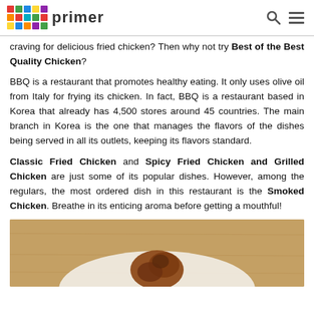primer
craving for delicious fried chicken? Then why not try Best of the Best Quality Chicken?
BBQ is a restaurant that promotes healthy eating. It only uses olive oil from Italy for frying its chicken. In fact, BBQ is a restaurant based in Korea that already has 4,500 stores around 45 countries. The main branch in Korea is the one that manages the flavors of the dishes being served in all its outlets, keeping its flavors standard.
Classic Fried Chicken and Spicy Fried Chicken and Grilled Chicken are just some of its popular dishes. However, among the regulars, the most ordered dish in this restaurant is the Smoked Chicken. Breathe in its enticing aroma before getting a mouthful!
[Figure (photo): A photo of smoked chicken on a white plate, on a wooden table background, partially cropped at the bottom of the page.]